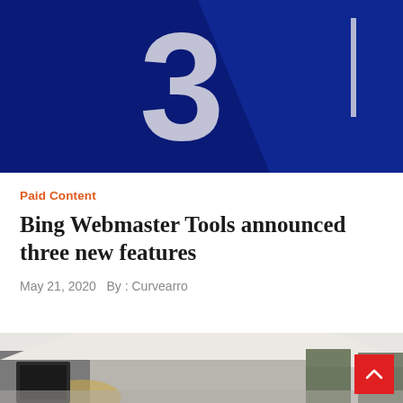[Figure (photo): Close-up photo of a digital display showing a number 3 in white on a dark navy/blue background with abstract shapes]
Paid Content
Bing Webmaster Tools announced three new features
May 21, 2020  By : Curvearro
[Figure (photo): Interior photo of a modern hotel room or office lobby area with grey walls, ceiling, a framed artwork, and warm lamp lighting]